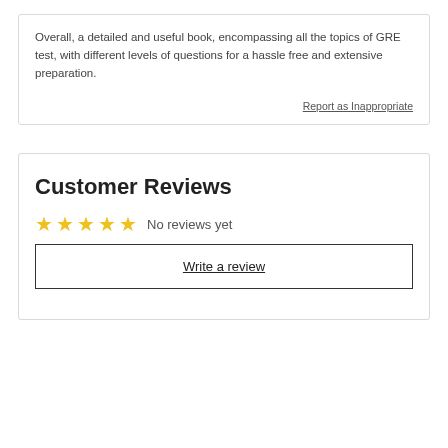Overall, a detailed and useful book, encompassing all the topics of GRE test, with different levels of questions for a hassle free and extensive preparation.
Report as Inappropriate
Customer Reviews
☆☆☆☆☆ No reviews yet
Write a review